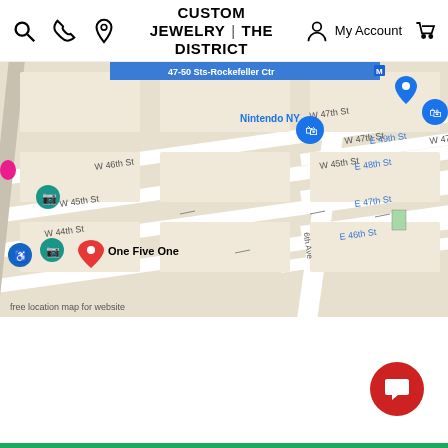CUSTOM JEWELRY | THE DISTRICT
[Figure (map): Google Maps screenshot showing midtown Manhattan area around W 44th St to W 47th St, near 5th Ave and 6th Ave, with map pins including Nintendo NY, One Five One, and other location markers. Watermark: 'free location map for website']
TRAXNYC SERVICE
REVIEWS